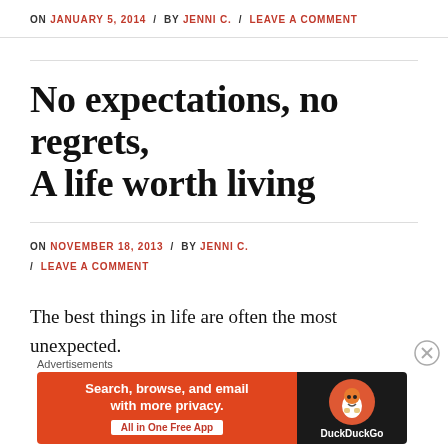ON JANUARY 5, 2014 / BY JENNI C. / LEAVE A COMMENT
No expectations, no regrets, A life worth living
ON NOVEMBER 18, 2013 / BY JENNI C. / LEAVE A COMMENT
The best things in life are often the most unexpected.
[Figure (other): DuckDuckGo advertisement banner: 'Search, browse, and email with more privacy. All in One Free App']